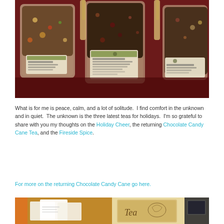[Figure (photo): Three large glass jars filled with loose leaf tea displayed on a red tablecloth, each with a label. Holiday teas including Chocolate Candy Cane and others.]
What is for me is peace, calm, and a lot of solitude.  I find comfort in the unknown and in quiet.  The unknown is the three latest teas for holidays.  I'm so grateful to share with you my thoughts on the Holiday Cheer, the returning Chocolate Candy Cane Tea, and the Fireside Spice.
For more on the returning Chocolate Candy Cane go here.
[Figure (photo): Two side-by-side photos at bottom: left shows white cards/papers on a cork board background, right shows a tea bag or tag with cursive 'Tea' text and decorative illustration.]